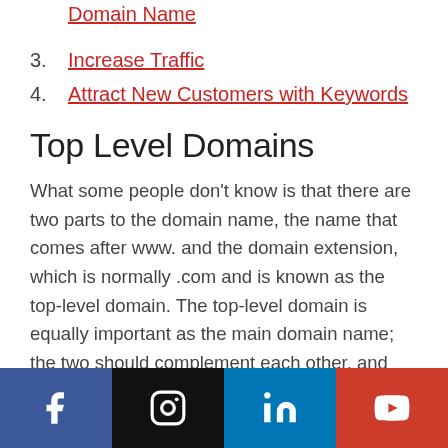Domain Name
3. Increase Traffic
4. Attract New Customers with Keywords
Top Level Domains
What some people don't know is that there are two parts to the domain name, the name that comes after www. and the domain extension, which is normally .com and is known as the top-level domain. The top-level domain is equally important as the main domain name; the two should complement each other, and work to create an effective, attractive online brand. There are several new top-
[Figure (infographic): Social media footer bar with Facebook, Instagram, LinkedIn, and YouTube icons on colored backgrounds (blue, black, blue, red-orange)]